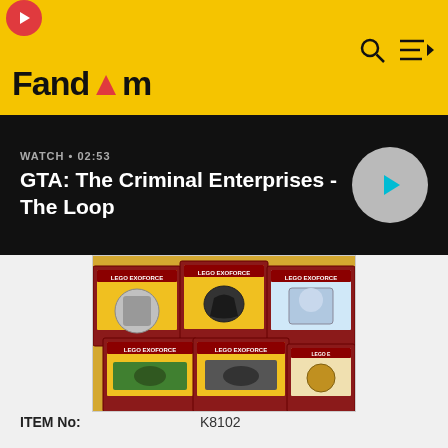Fandom
WATCH • 02:53
GTA: The Criminal Enterprises - The Loop
[Figure (photo): Group of LEGO Exoforce set boxes arranged together showing various robot/mech figures on yellow packaging with red LEGO Exoforce branding]
ITEM No: K8102